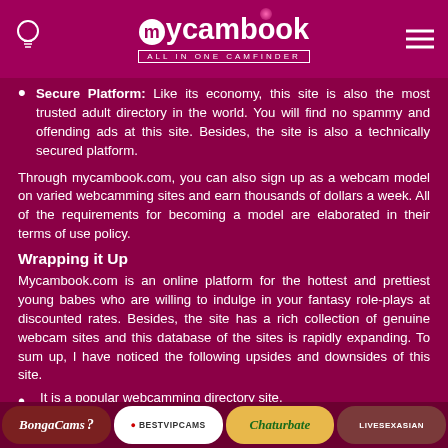mycambook — ALL IN ONE CAMFINDER
Secure Platform: Like its economy, this site is also the most trusted adult directory in the world. You will find no spammy and offending ads at this site. Besides, the site is also a technically secured platform.
Through mycambook.com, you can also sign up as a webcam model on varied webcamming sites and earn thousands of dollars a week. All of the requirements for becoming a model are elaborated in their terms of use policy.
Wrapping it Up
Mycambook.com is an online platform for the hottest and prettiest young babes who are willing to indulge in your fantasy role-plays at discounted rates. Besides, the site has a rich collection of genuine webcam sites and this database of the sites is rapidly expanding. To sum up, I have noticed the following upsides and downsides of this site.
It is a popular webcamming directory site.
It is a fast loading and technically secure site.
BongaCams | BESTVIPCAMS | Chaturbate | LIVESEXASIAN